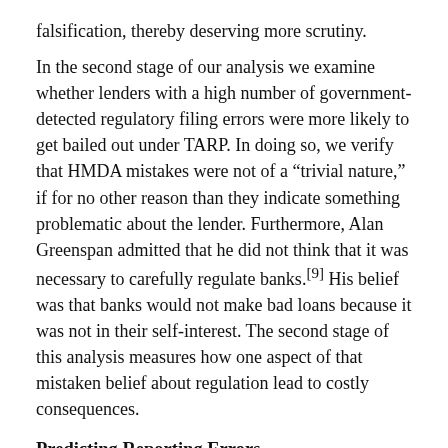falsification, thereby deserving more scrutiny.
In the second stage of our analysis we examine whether lenders with a high number of government-detected regulatory filing errors were more likely to get bailed out under TARP. In doing so, we verify that HMDA mistakes were not of a “trivial nature,” if for no other reason than they indicate something problematic about the lender. Furthermore, Alan Greenspan admitted that he did not think that it was necessary to carefully regulate banks.[9] His belief was that banks would not make bad loans because it was not in their self-interest. The second stage of this analysis measures how one aspect of that mistaken belief about regulation lead to costly consequences.
Predicting Reporting Errors
a. The Data and Hypotheses
For each mortgage application, the HMDA data contains information on a lender’s regulator, the reported income of the borrower, the loan amount, the census tract of the property,